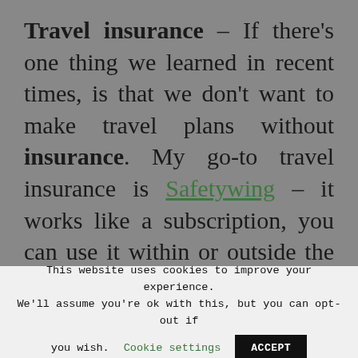Travel insurance – If there's one thing we learned in recent times, is that we don't want to make travel plans without insurance. My go-to travel insurance is Safetywing – it works like a subscription, you can use it within or outside the US, and it offers flexibility. You can sign up even if your journey has started, children under 10 are included for fr...
This website uses cookies to improve your experience. We'll assume you're ok with this, but you can opt-out if you wish. Cookie settings ACCEPT